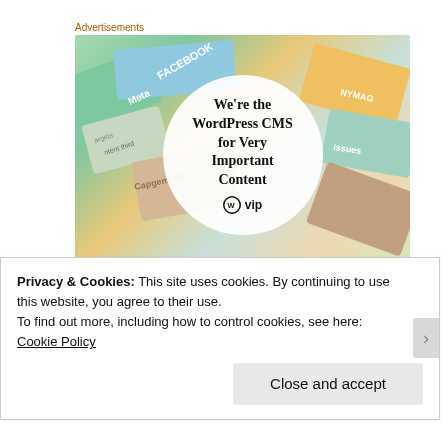Advertisements
[Figure (illustration): WordPress VIP advertisement banner showing colorful cards with tech company names (Meta, Facebook, Capgemini, etc.) in the background, with a white circle in the center containing bold text: 'We're the WordPress CMS for Very Important Content' and the WordPress VIP logo below.]
It was also great to see so many Canadian Rangers today as
Privacy & Cookies: This site uses cookies. By continuing to use this website, you agree to their use.
To find out more, including how to control cookies, see here: Cookie Policy
Close and accept